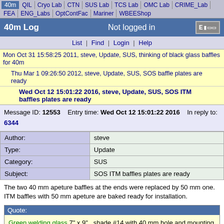40m | QIL | Cryo Lab | CTN | SUS Lab | TCS Lab | OMC Lab | CRIME_Lab | FEA | ENG_Labs | OptContFac | Mariner | WBEEShop
40m Log   Not logged in   ELOG
List | Find | Login | Help
Mon Oct 31 15:58:25 2011, steve, Update, SUS, thinking of black glass baffles for 40m
Thu Mar 1 09:26:50 2012, steve, Update, SUS, SOS baffle plates are ready
Wed Oct 12 15:01:22 2016, steve, Update, SUS, SOS ITM baffles plates are ready
Message ID: 12553   Entry time: Wed Oct 12 15:01:22 2016   In reply to: 6344
| Field | Value |
| --- | --- |
| Author: | steve |
| Type: | Update |
| Category: | SUS |
| Subject: | SOS ITM baffles plates are ready |
The two 40 mm apeture baffles at the ends were replaced by 50 mm one. ITM baffles with 50 mm apeture are baked ready for installation.
Quote: Green welding glass 7" x 9"  shade #14 with 40 mm hole and mounting fixtures are ready to reduce scatter light on SOS

PEEK 450CA shims and U-shaped clips  will keep these plates damped.